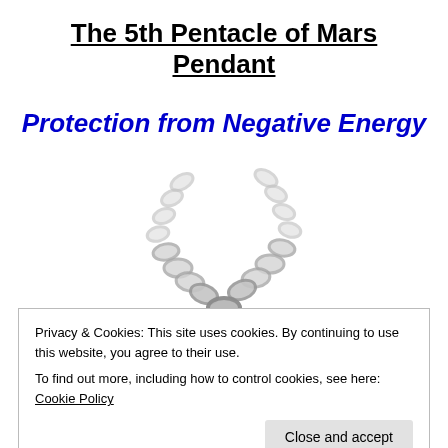The 5th Pentacle of Mars Pendant
Protection from Negative Energy
[Figure (photo): Silver chain necklace pendant shown from above, two chain strands converging to a central link]
[Figure (photo): Bottom portion of a pendant with decorative engraving, partially visible at bottom of page]
Privacy & Cookies: This site uses cookies. By continuing to use this website, you agree to their use.
To find out more, including how to control cookies, see here: Cookie Policy
Close and accept